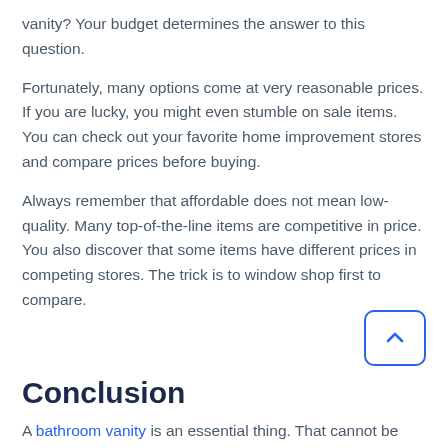vanity? Your budget determines the answer to this question.
Fortunately, many options come at very reasonable prices. If you are lucky, you might even stumble on sale items. You can check out your favorite home improvement stores and compare prices before buying.
Always remember that affordable does not mean low-quality. Many top-of-the-line items are competitive in price. You also discover that some items have different prices in competing stores. The trick is to window shop first to compare.
Conclusion
A bathroom vanity is an essential thing. That cannot be over-